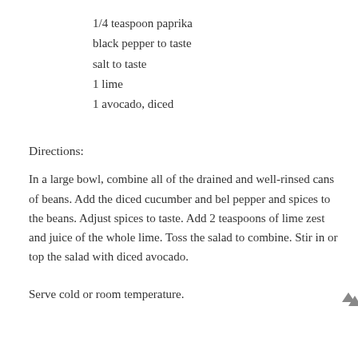1/4 teaspoon paprika
black pepper to taste
salt to taste
1 lime
1 avocado, diced
Directions:
In a large bowl, combine all of the drained and well-rinsed cans of beans. Add the diced cucumber and bel pepper and spices to the beans. Adjust spices to taste. Add 2 teaspoons of lime zest and juice of the whole lime. Toss the salad to combine. Stir in or top the salad with diced avocado.
Serve cold or room temperature.